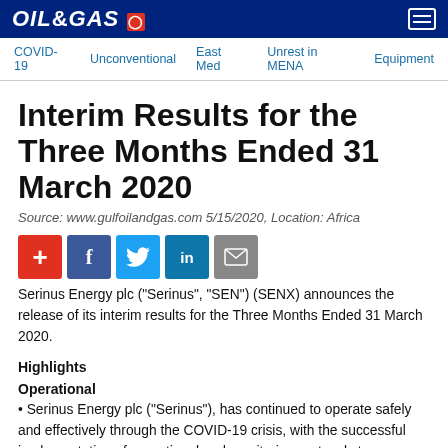OIL&GAS
Interim Results for the Three Months Ended 31 March 2020
Source: www.gulfoilandgas.com 5/15/2020, Location: Africa
[Figure (other): Social sharing buttons: Add (+), Facebook, Twitter, LinkedIn, Email]
Serinus Energy plc ("Serinus", "SEN") (SENX) announces the release of its interim results for the Three Months Ended 31 March 2020.
Highlights
Operational
• Serinus Energy plc ("Serinus"), has continued to operate safely and effectively through the COVID-19 crisis, with the successful implementation of operational and monitoring protocols to ensure